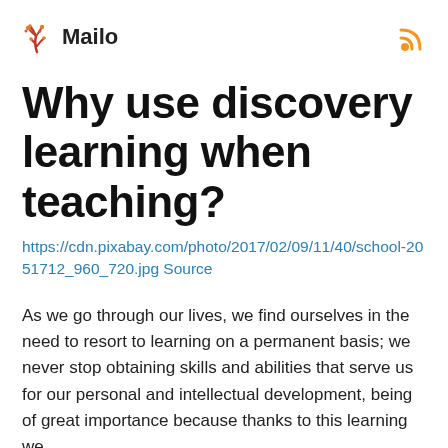Mailo
Why use discovery learning when teaching?
https://cdn.pixabay.com/photo/2017/02/09/11/40/school-2051712_960_720.jpg Source
As we go through our lives, we find ourselves in the need to resort to learning on a permanent basis; we never stop obtaining skills and abilities that serve us for our personal and intellectual development, being of great importance because thanks to this learning we